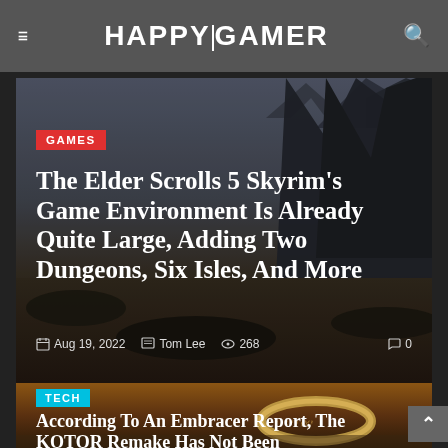HAPPYGAMER
[Figure (photo): Dark fantasy landscape with towering dark rock formations against a stormy grey sky — Skyrim game environment screenshot]
GAMES
The Elder Scrolls 5 Skyrim's Game Environment Is Already Quite Large, Adding Two Dungeons, Six Isles, And More
Aug 19, 2022   Tom Lee   268   0
[Figure (photo): Close-up of the One Ring from Lord of the Rings on a sandy surface with glowing elvish inscription]
TECH
According To An Embracer Report, The KOTOR Remake Has Not Been